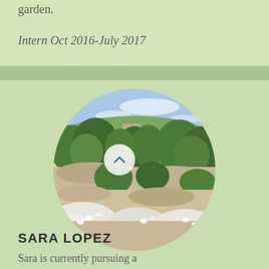garden.
Intern Oct 2016-July 2017
[Figure (photo): Circular cropped photograph of a hilly landscape with dense green trees, white flowering shrubs in the foreground, stone terraces, and a building visible among the trees under a blue sky.]
SARA LOPEZ
Sara is currently pursuing a